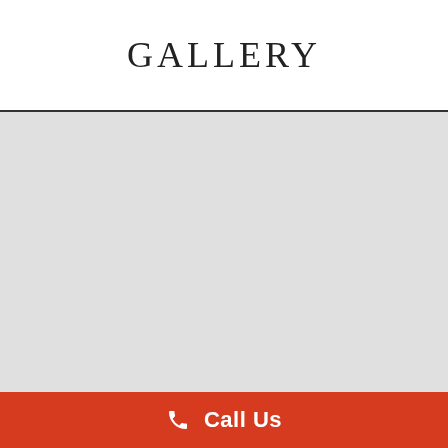GALLERY
[Figure (other): Large light gray placeholder image area below a horizontal divider line]
Call Us